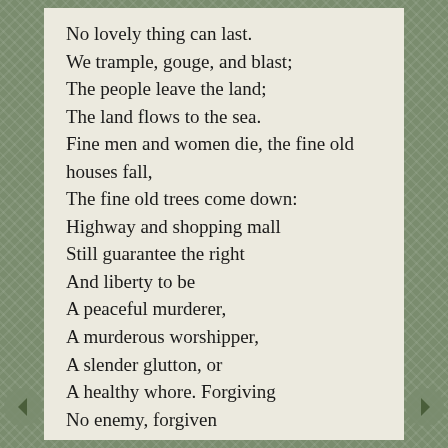No lovely thing can last.
We trample, gouge, and blast;
The people leave the land;
The land flows to the sea.
Fine men and women die, the fine old houses fall,
The fine old trees come down:
Highway and shopping mall
Still guarantee the right
And liberty to be
A peaceful murderer,
A murderous worshipper,
A slender glutton, or
A healthy whore. Forgiving
No enemy, forgiven
By none, we live the death
Of liberty, become
What we have feared to be.